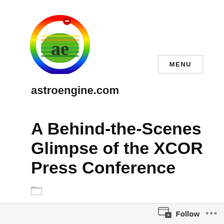[Figure (logo): Astroengine.com circular rainbow-colored logo with stylized 'ae' letters]
MENU
astroengine.com
A Behind-the-Scenes Glimpse of the XCOR Press Conference
[Figure (logo): WordPress Follow bar at bottom with follow icon and ellipsis menu]